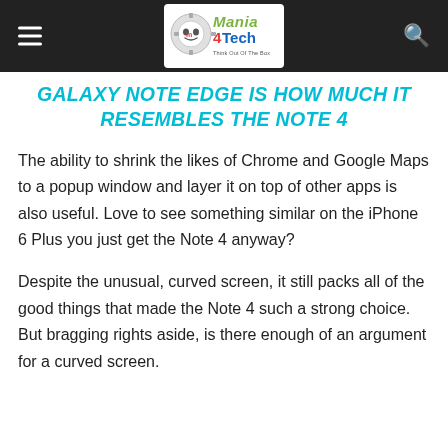Mania 4Tech — Think Out Of The Box
GALAXY NOTE EDGE IS HOW MUCH IT RESEMBLES THE NOTE 4
The ability to shrink the likes of Chrome and Google Maps to a popup window and layer it on top of other apps is also useful. Love to see something similar on the iPhone 6 Plus you just get the Note 4 anyway?
Despite the unusual, curved screen, it still packs all of the good things that made the Note 4 such a strong choice. But bragging rights aside, is there enough of an argument for a curved screen.